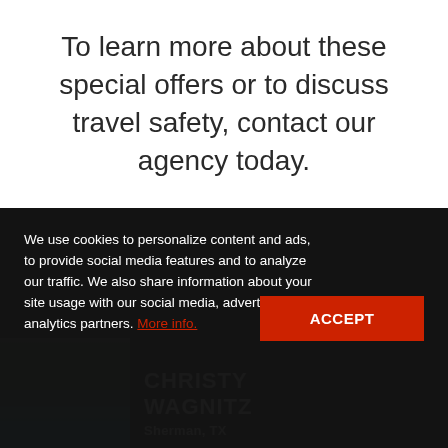To learn more about these special offers or to discuss travel safety, contact our agency today.
We use cookies to personalize content and ads, to provide social media features and to analyze our traffic. We also share information about your site usage with our social media, advertising and analytics partners. More info.
CHRISTY WAGNITZ
Sherman, TX